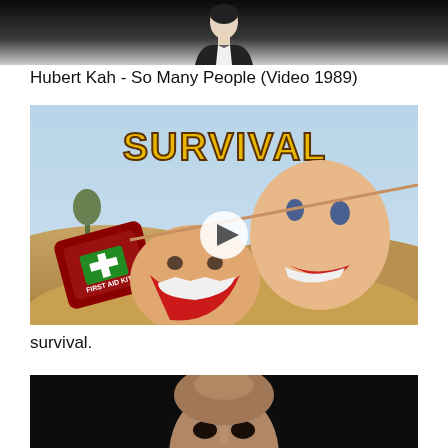[Figure (screenshot): Partial video thumbnail showing a person in dark clothing against a dark background, top portion cropped]
Hubert Kah - So Many People (Video 1989)
[Figure (screenshot): Video thumbnail for 'SURVIVAL' showing a desert scene with a first aid kit, animated tent made of human faces, and a play button overlay]
survival.
[Figure (screenshot): Partial video thumbnail showing a bald man's face against a dark background, bottom portion of page]